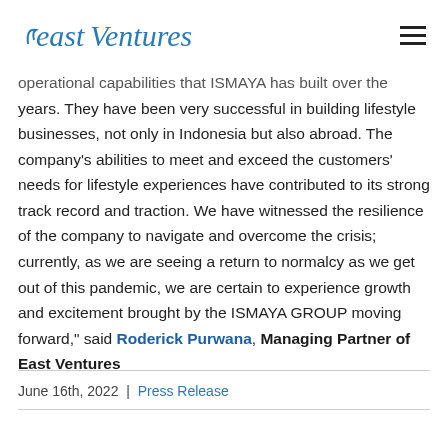East Ventures
operational capabilities that ISMAYA has built over the years. They have been very successful in building lifestyle businesses, not only in Indonesia but also abroad. The company's abilities to meet and exceed the customers' needs for lifestyle experiences have contributed to its strong track record and traction. We have witnessed the resilience of the company to navigate and overcome the crisis; currently, as we are seeing a return to normalcy as we get out of this pandemic, we are certain to experience growth and excitement brought by the ISMAYA GROUP moving forward," said Roderick Purwana, Managing Partner of East Ventures
June 16th, 2022 | Press Release